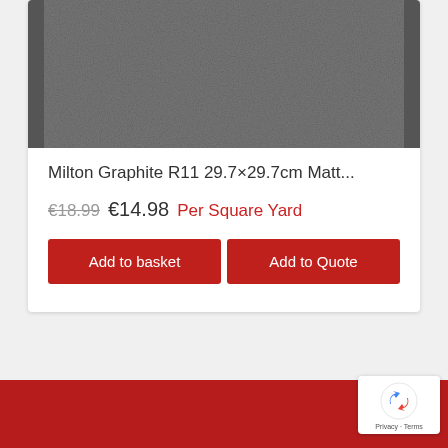[Figure (photo): Product image showing dark graphite texture/surface of a floor tile]
Milton Graphite R11 29.7×29.7cm Matt...
€18.99  €14.98  Per Square Yard
Add to basket  |  Add to Quote